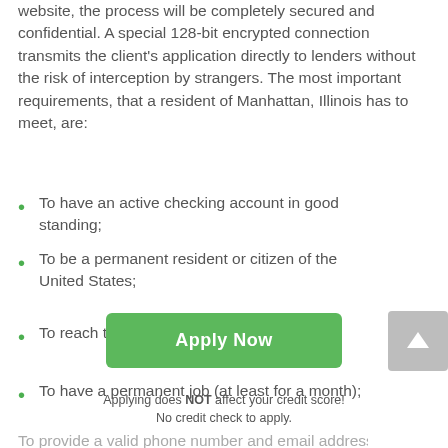website, the process will be completely secured and confidential. A special 128-bit encrypted connection transmits the client's application directly to lenders without the risk of interception by strangers. The most important requirements, that a resident of Manhattan, Illinois has to meet, are:
To have an active checking account in good standing;
To be a permanent resident or citizen of the United States;
To reach the age of eighteen;
To have a permanent job (at least for a month);
Apply Now
Applying does NOT affect your credit score!
No credit check to apply.